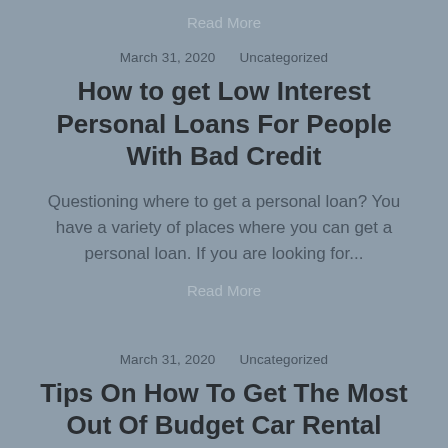Read More
March 31, 2020    Uncategorized
How to get Low Interest Personal Loans For People With Bad Credit
Questioning where to get a personal loan? You have a variety of places where you can get a personal loan. If you are looking for...
Read More
March 31, 2020    Uncategorized
Tips On How To Get The Most Out Of Budget Car Rental
Spending budget car rentals are a traveler's necessity...